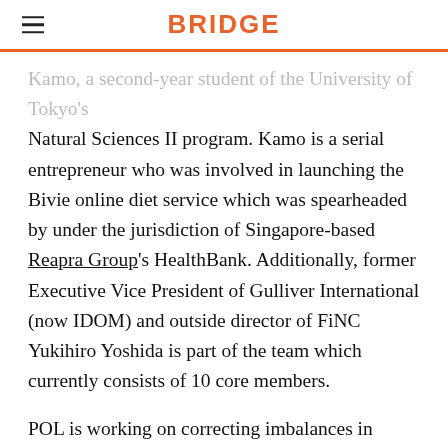BRIDGE
Kamo, a second-year student of the University of Tokyo's Natural Sciences II program. Kamo is a serial entrepreneur who was involved in launching the Bivie online diet service which was spearheaded by under the jurisdiction of Singapore-based Reapra Group's HealthBank. Additionally, former Executive Vice President of Gulliver International (now IDOM) and outside director of FiNC Yukihiro Yoshida is part of the team which currently consists of 10 core members.
POL is working on correcting imbalances in supply and demand for science students seeking employment and those looking to employ them. Nearly 80% of graduating students using the typical job hunting sites and attending